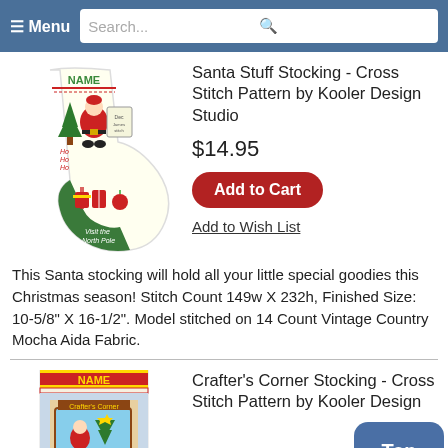≡ Menu | Search...
[Figure (illustration): Cross stitch stocking pattern showing Santa Claus with Christmas decorations and NAME label at top, on cream background]
Santa Stuff Stocking - Cross Stitch Pattern by Kooler Design Studio
$14.95
Add to Cart
Add to Wish List
This Santa stocking will hold all your little special goodies this Christmas season! Stitch Count 149w X 232h, Finished Size: 10-5/8" X 16-1/2". Model stitched on 14 Count Vintage Country Mocha Aida Fabric.
[Figure (illustration): Cross stitch stocking pattern showing Crafter's Corner shop scene with NAME label at top]
Crafter's Corner Stocking - Cross Stitch Pattern by Kooler Design